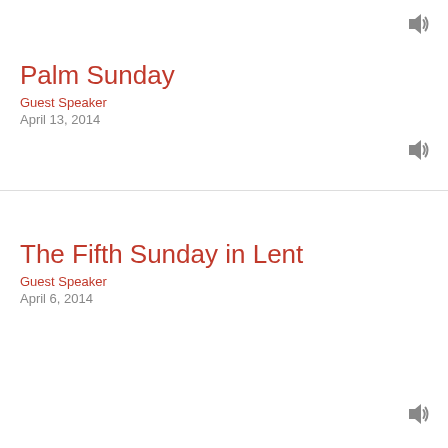[Figure (other): Speaker/audio icon in top right corner]
Palm Sunday
Guest Speaker
April 13, 2014
[Figure (other): Speaker/audio icon on right side]
The Fifth Sunday in Lent
Guest Speaker
April 6, 2014
[Figure (other): Speaker/audio icon in bottom right corner]